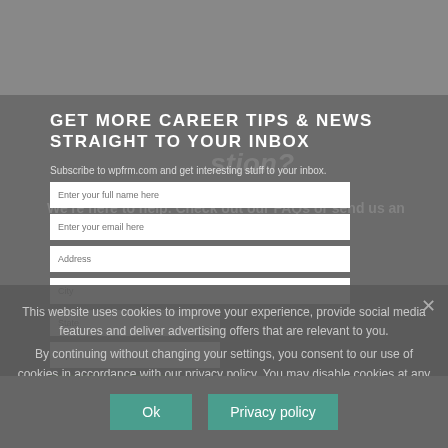GET MORE CAREER TIPS & NEWS STRAIGHT TO YOUR INBOX
Subscribe to wpfrm.com and get interesting stuff to your inbox.
Enter your full name here
Enter your email here
Address
City
State
Zip
Subscribe →
Have a question?
We're here to help. Check out our FAQs or send us an email at support@wpfrm.com
This website uses cookies to improve your experience, provide social media features and deliver advertising offers that are relevant to you.
By continuing without changing your settings, you consent to our use of cookies in accordance with our privacy policy. You may disable cookies at any time.
Ok
Privacy policy